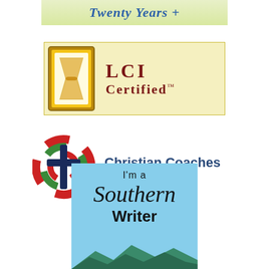[Figure (logo): Banner with italic blue text reading 'Twenty Years +' on a light green/yellow gradient background]
[Figure (logo): LCI Certified trademark badge with golden hourglass icon on left and 'LCI Certified TM' text in dark red on light yellow background]
[Figure (logo): Christian Coaches Network International logo with colorful globe-cross icon and bold blue text]
[Figure (logo): I'm a Southern Writer badge with light blue background, script and sans-serif text, and mountain silhouette at bottom]